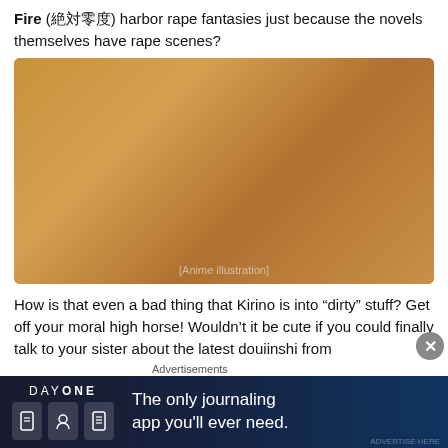Fire (絶対零度) harbor rape fantasies just because the novels themselves have rape scenes?
[Figure (illustration): Anime illustration showing a female character with orange/brown hair lying on a wooden floor, wearing a white outfit, with a red wristband, appearing distressed.]
How is that even a bad thing that Kirino is into “dirty” stuff? Get off your moral high horse! Wouldn’t it be cute if you could finally talk to your sister about the latest douiinshi from
Advertisements
[Figure (screenshot): Day One journaling app advertisement banner. Dark blue background with 'DAY ONE' text and three app icons on the left, and 'The only journaling app you'll ever need.' on the right.]